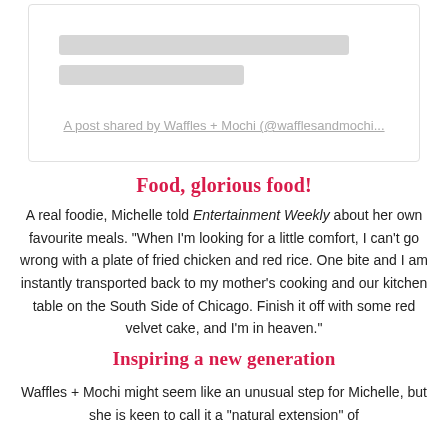[Figure (screenshot): Instagram embed placeholder with two skeleton loading lines and a link text 'A post shared by Waffles + Mochi (@wafflesandmochi...']
Food, glorious food!
A real foodie, Michelle told Entertainment Weekly about her own favourite meals. "When I'm looking for a little comfort, I can't go wrong with a plate of fried chicken and red rice. One bite and I am instantly transported back to my mother’s cooking and our kitchen table on the South Side of Chicago. Finish it off with some red velvet cake, and I'm in heaven."
Inspiring a new generation
Waffles + Mochi might seem like an unusual step for Michelle, but she is keen to call it a "natural extension" of